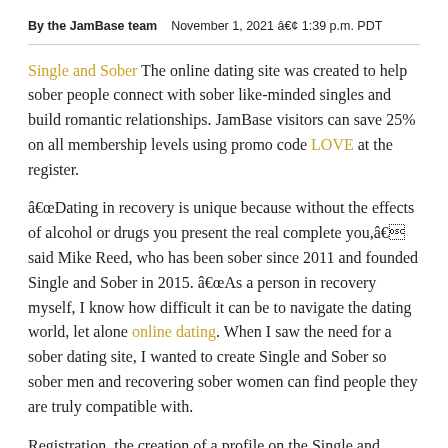By the JamBase team   November 1, 2021 â€¢ 1:39 p.m. PDT
Single and Sober The online dating site was created to help sober people connect with sober like-minded singles and build romantic relationships. JamBase visitors can save 25% on all membership levels using promo code LOVE at the register.
â€œDating in recovery is unique because without the effects of alcohol or drugs you present the real complete you,â€ said Mike Reed, who has been sober since 2011 and founded Single and Sober in 2015. â€œAs a person in recovery myself, I know how difficult it can be to navigate the dating world, let alone online dating. When I saw the need for a sober dating site, I wanted to create Single and Sober so sober men and recovering sober women can find people they are truly compatible with.
Registration, the creation of a profile on the Single and Sober site and the consultation of other profiles are free. If sober men or women want to send and receive messages from other site...